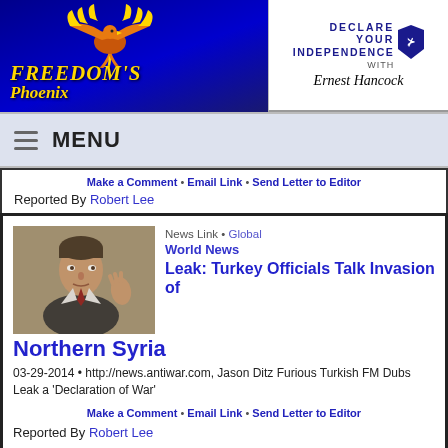[Figure (logo): Freedom's Phoenix logo on dark blue background with golden phoenix bird]
[Figure (logo): Declare Your Independence with Ernest Hancock logo with shield and signature]
MENU
Make a Comment • Email Link • Send Letter to Editor
Reported By Robert Lee
[Figure (photo): Photo of a man in suit gesturing with hand]
News Link • Global World News
Leak: Turkey Officials Talk Invasion of Northern Syria
03-29-2014 • http://news.antiwar.com, Jason Ditz Furious Turkish FM Dubs Leak a 'Declaration of War'
Make a Comment • Email Link • Send Letter to Editor
Reported By Robert Lee